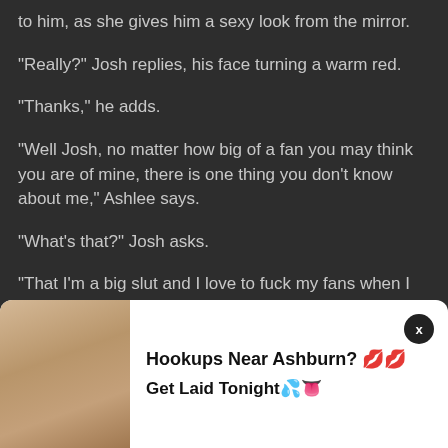to him, as she gives him a sexy look from the mirror.
“Really?” Josh replies, his face turning a warm red.
“Thanks,” he adds.
“Well Josh, no matter how big of a fan you may think you are of mine, there is one thing you don’t know about me,” Ashlee says.
“What’s that?” Josh asks.
“That I’m a big slut and I love to fuck my fans when I
[Figure (photo): Advertisement overlay with photo and text: Hookups Near Ashburn? Get Laid Tonight with emoji]